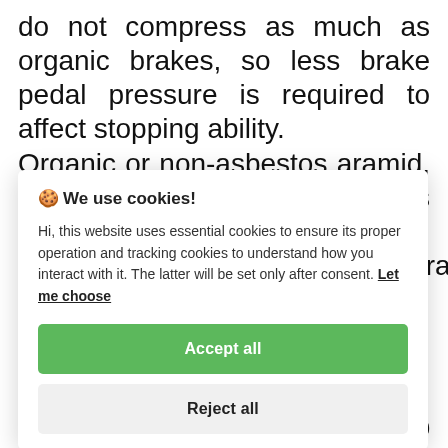do not compress as much as organic brakes, so less brake pedal pressure is required to affect stopping ability. Organic or non-asbestos aramid, kevlar, glass, or ceramic fibers are used to reinforce the organic matrix of ceramic
[Figure (screenshot): Cookie consent modal dialog with title 'We use cookies!', body text explaining essential and tracking cookies with a 'Let me choose' link, a green 'Accept all' button, and a light gray 'Reject all' button.]
vehicles which is propelling the